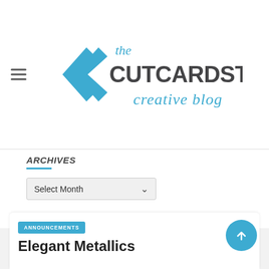[Figure (logo): The CutCardStock Creative Blog logo with double chevron arrows in blue and dark gray bold text]
Archives
Select Month
Other Projects You'll Love
ANNOUNCEMENTS
Elegant Metallics